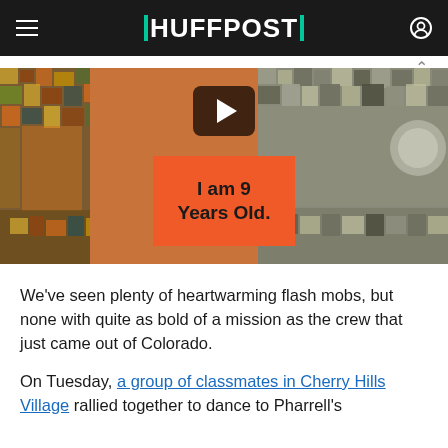HUFFPOST
[Figure (photo): Video thumbnail showing a person in an orange sweater holding an orange sign that reads 'I am 9 Years Old.' in front of a colorful mosaic background, with a play button overlay.]
We've seen plenty of heartwarming flash mobs, but none with quite as bold of a mission as the crew that just came out of Colorado.
On Tuesday, a group of classmates in Cherry Hills Village rallied together to dance to Pharrell's